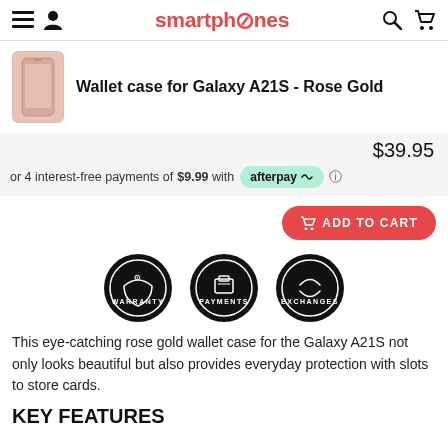smartphones
Wallet case for Galaxy A21S - Rose Gold
$39.95
or 4 interest-free payments of $9.99 with afterpay
ADD TO CART
[Figure (illustration): Three circular black badge icons: WARRANTY, PAYMENTS, EXCHANGES]
This eye-catching rose gold wallet case for the Galaxy A21S not only looks beautiful but also provides everyday protection with slots to store cards.
KEY FEATURES